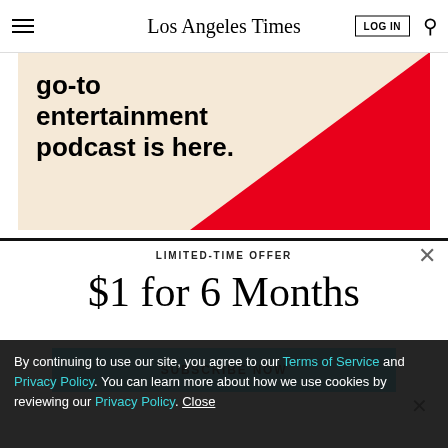Los Angeles Times — LOG IN (search icon)
[Figure (illustration): Ad banner with cream/tan background showing text 'go-to entertainment podcast is here.' with a red diagonal triangle in the bottom-right corner]
LIMITED-TIME OFFER
$1 for 6 Months
SUBSCRIBE NOW
By continuing to use our site, you agree to our Terms of Service and Privacy Policy. You can learn more about how we use cookies by reviewing our Privacy Policy. Close